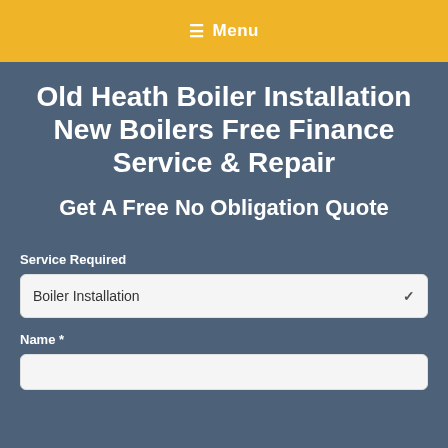☰ Menu
Old Heath Boiler Installation New Boilers Free Finance Service & Repair
Get A Free No Obligation Quote
Service Required
Boiler Installation
Name *